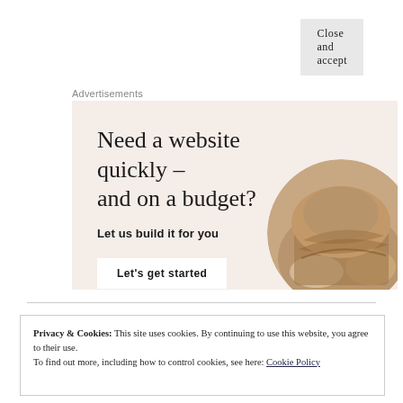Advertisements
[Figure (illustration): Advertisement banner with beige/pink background. Large serif heading 'Need a website quickly – and on a budget?' with subheading 'Let us build it for you', a white button 'Let's get started', and a circular cropped photo of a person's hands working.]
Privacy & Cookies: This site uses cookies. By continuing to use this website, you agree to their use.
To find out more, including how to control cookies, see here: Cookie Policy
Close and accept